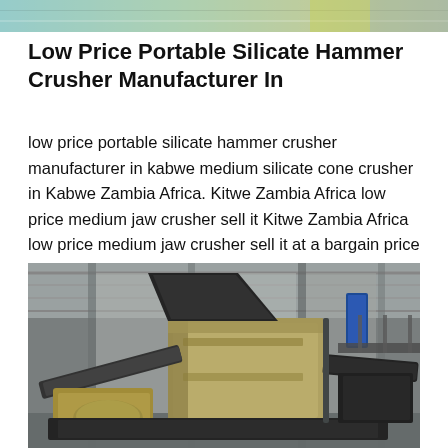[Figure (photo): Top banner strip showing industrial/mining equipment scene with teal and yellow-green color tones]
Low Price Portable Silicate Hammer Crusher Manufacturer In
low price portable silicate hammer crusher manufacturer in kabwe medium silicate cone crusher in Kabwe Zambia Africa. Kitwe Zambia Africa low price medium jaw crusher sell it Kitwe Zambia Africa low price medium jaw crusher sell it at a bargain price Lusaka Zambia Africa low price new cement clinker hammer crusher sell it at a bargain priceLusaka large lime briquetting machine sellFote quick
[Figure (photo): Industrial hammer crusher machine photographed inside a large factory/warehouse facility. The machine is large, beige/rust colored, mounted on a dark steel base with a conveyor or feeder visible. The background shows the steel structure of the building.]